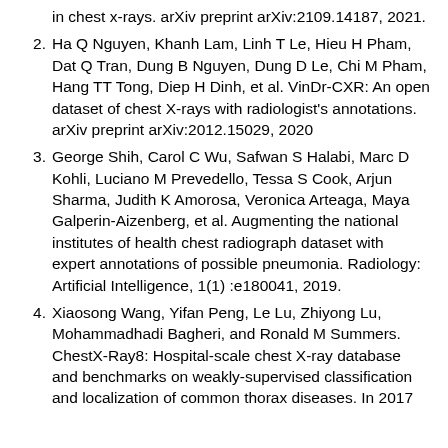in chest x-rays. arXiv preprint arXiv:2109.14187, 2021.
2. Ha Q Nguyen, Khanh Lam, Linh T Le, Hieu H Pham, Dat Q Tran, Dung B Nguyen, Dung D Le, Chi M Pham, Hang TT Tong, Diep H Dinh, et al. VinDr-CXR: An open dataset of chest X-rays with radiologist's annotations. arXiv preprint arXiv:2012.15029, 2020
3. George Shih, Carol C Wu, Safwan S Halabi, Marc D Kohli, Luciano M Prevedello, Tessa S Cook, Arjun Sharma, Judith K Amorosa, Veronica Arteaga, Maya Galperin-Aizenberg, et al. Augmenting the national institutes of health chest radiograph dataset with expert annotations of possible pneumonia. Radiology: Artificial Intelligence, 1(1) :e180041, 2019.
4. Xiaosong Wang, Yifan Peng, Le Lu, Zhiyong Lu, Mohammadhadi Bagheri, and Ronald M Summers. ChestX-Ray8: Hospital-scale chest X-ray database and benchmarks on weakly-supervised classification and localization of common thorax diseases. In 2017